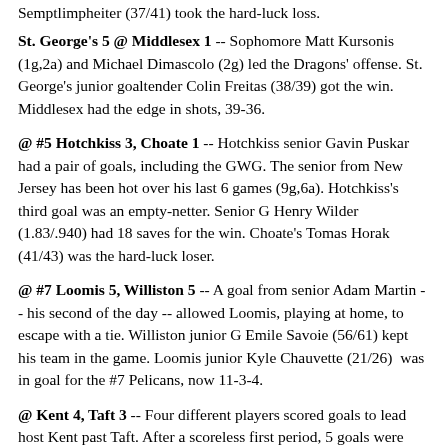Semptlimpheiter (37/41) took the hard-luck loss.
St. George's 5 @ Middlesex 1 -- Sophomore Matt Kursonis (1g,2a) and Michael Dimascolo (2g) led the Dragons' offense. St. George's junior goaltender Colin Freitas (38/39) got the win. Middlesex had the edge in shots, 39-36.
@ #5 Hotchkiss 3, Choate 1 -- Hotchkiss senior Gavin Puskar had a pair of goals, including the GWG. The senior from New Jersey has been hot over his last 6 games (9g,6a). Hotchkiss's third goal was an empty-netter. Senior G Henry Wilder (1.83/.940) had 18 saves for the win. Choate's Tomas Horak (41/43) was the hard-luck loser.
@ #7 Loomis 5, Williston 5 -- A goal from senior Adam Martin -- his second of the day -- allowed Loomis, playing at home, to escape with a tie. Williston junior G Emile Savoie (56/61) kept his team in the game. Loomis junior Kyle Chauvette (21/26)  was in goal for the #7 Pelicans, now 11-3-4.
@ Kent 4, Taft 3 -- Four different players scored goals to lead host Kent past Taft. After a scoreless first period, 5 goals were scored in the second, and two in the third.  PG Nick Cullinan scored 2 goals for Taft, and senior Henry Molson (1g,2a)  had 3 points. Kent junior Jeremy Siegel (23/26) got the win, and Taft sophomore